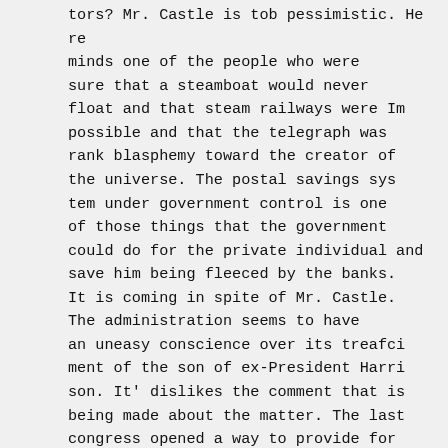tors? Mr. Castle is tob pessimistic. He re
minds one of the people who were sure that a steamboat would never float and that steam railways were Im possible and that the telegraph was rank blasphemy toward the creator of the universe. The postal savings sys tem under government control is one of those things that the government could do for the private individual and save him being fleeced by the banks. It is coming in spite of Mr. Castle. The administration seems to have an uneasy conscience over its treafci ment of the son of ex-President Harri son. It' dislikes the comment that is being made about the matter. The last congress opened a way to provide for the appointment of officers in young